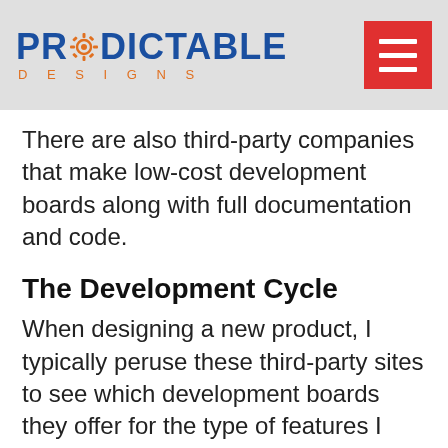PREDICTABLE DESIGNS
There are also third-party companies that make low-cost development boards along with full documentation and code.
The Development Cycle
When designing a new product, I typically peruse these third-party sites to see which development boards they offer for the type of features I need.
It is the quickest, most efficient way to